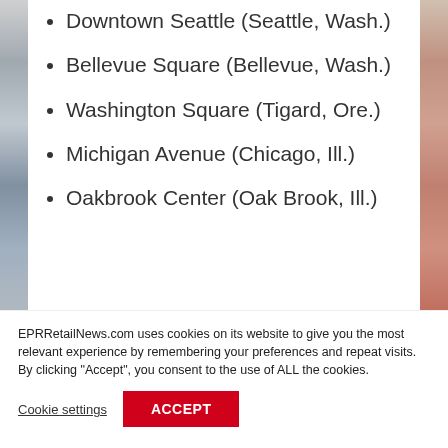Downtown Seattle (Seattle, Wash.)
Bellevue Square (Bellevue, Wash.)
Washington Square (Tigard, Ore.)
Michigan Avenue (Chicago, Ill.)
Oakbrook Center (Oak Brook, Ill.)
EPRRetailNews.com uses cookies on its website to give you the most relevant experience by remembering your preferences and repeat visits. By clicking “Accept”, you consent to the use of ALL the cookies.
Cookie settings
ACCEPT